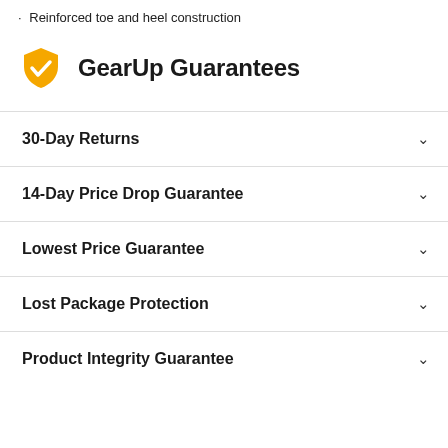Reinforced toe and heel construction
GearUp Guarantees
30-Day Returns
14-Day Price Drop Guarantee
Lowest Price Guarantee
Lost Package Protection
Product Integrity Guarantee